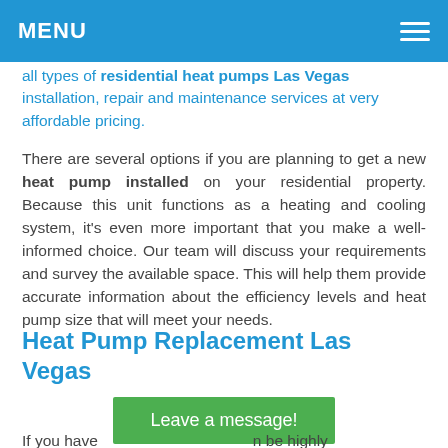MENU
all types of residential heat pumps Las Vegas installation, repair and maintenance services at very affordable pricing.
There are several options if you are planning to get a new heat pump installed on your residential property. Because this unit functions as a heating and cooling system, it's even more important that you make a well-informed choice. Our team will discuss your requirements and survey the available space. This will help them provide accurate information about the efficiency levels and heat pump size that will meet your needs.
Heat Pump Replacement Las Vegas
Leave a message!
If you have                              be highly